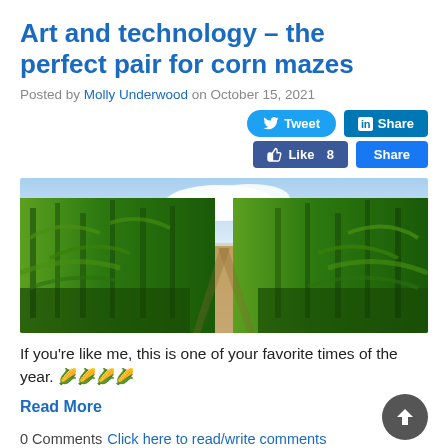Art and technology – the perfect pair for corn mazes
Posted by Molly Underwood on October 15, 2021
[Figure (screenshot): Social sharing buttons: Tweet (Twitter), Share (LinkedIn), Like 8 (Facebook), Share (Facebook)]
[Figure (photo): A panoramic photo of a corn maze showing a dirt path between tall green corn stalks with a partly cloudy sky visible above.]
If you're like me, this is one of your favorite times of the year. 🌽🌽🌽🌽
Read More
0 Comments Click here to read/write comments